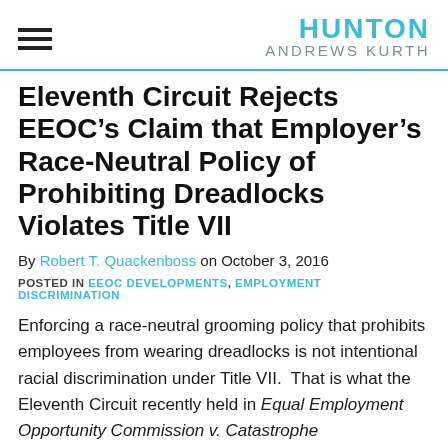HUNTON ANDREWS KURTH
Eleventh Circuit Rejects EEOC’s Claim that Employer’s Race-Neutral Policy of Prohibiting Dreadlocks Violates Title VII
By Robert T. Quackenboss on October 3, 2016
POSTED IN EEOC DEVELOPMENTS, EMPLOYMENT DISCRIMINATION
Enforcing a race-neutral grooming policy that prohibits employees from wearing dreadlocks is not intentional racial discrimination under Title VII.  That is what the Eleventh Circuit recently held in Equal Employment Opportunity Commission v. Catastrophe